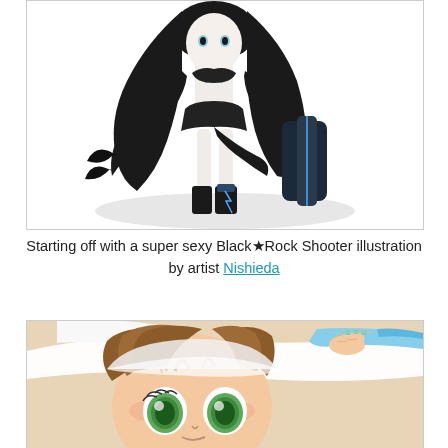[Figure (illustration): Anime-style illustration of Black Rock Shooter character with long black hair, dark outfit, and mechanical elements against a white background.]
Starting off with a super sexy Black★Rock Shooter illustration by artist Nishieda
[Figure (illustration): Anime-style illustration of a cute girl with brown hair and large green eyes, wearing a white hat, with teal/blue decorative elements.]